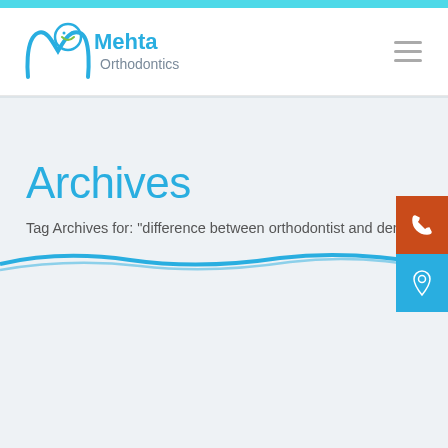[Figure (logo): Mehta Orthodontics logo with stylized M and smile icon in teal/blue, company name in blue and gray]
Archives
Tag Archives for: "difference between orthodontist and dentist"